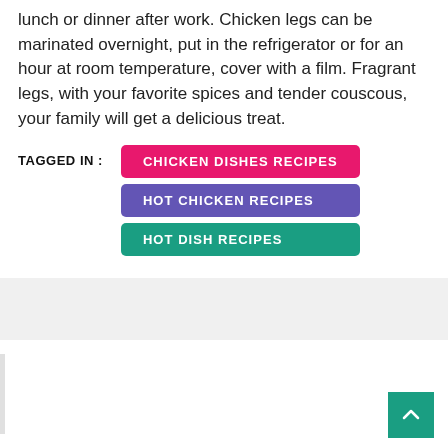lunch or dinner after work. Chicken legs can be marinated overnight, put in the refrigerator or for an hour at room temperature, cover with a film. Fragrant legs, with your favorite spices and tender couscous, your family will get a delicious treat.
TAGGED IN : CHICKEN DISHES RECIPES   HOT CHICKEN RECIPES   HOT DISH RECIPES